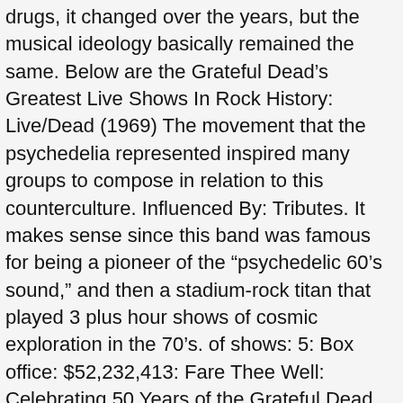drugs, it changed over the years, but the musical ideology basically remained the same. Below are the Grateful Dead’s Greatest Live Shows In Rock History: Live/Dead (1969) The movement that the psychedelia represented inspired many groups to compose in relation to this counterculture. Influenced By: Tributes. It makes sense since this band was famous for being a pioneer of the “psychedelic 60’s sound,” and then a stadium-rock titan that played 3 plus hour shows of cosmic exploration in the 70’s. of shows: 5: Box office: $52,232,413: Fare Thee Well: Celebrating 50 Years of the Grateful Dead was a series of concerts which were performed by most of the surviving members of the Grateful Dead: Bob Weir, Phil Lesh, Bill Kreutzmann and Mickey Hart, joined by Trey Anastasio, Bruce Hornsby and Jeff Chimenti, to celebrate the 50th anniversary of the Grateful Dead. A lot of the running time is just noodling. Â£13.71: We keep working as hard as we possibly can to bring you the best, most exciting Grateful Dead shows in the vault. Hello! but on tape, they sound merely solid. The Best New Grateful Dead Merch for Deadheads and Collectors Alike. I was thinking of